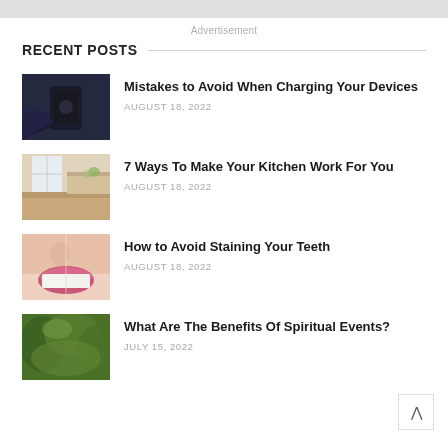[Figure (other): Gray top bar / banner area]
Advertisement
RECENT POSTS
Mistakes to Avoid When Charging Your Devices
AUGUST 18, 2022
7 Ways To Make Your Kitchen Work For You
AUGUST 18, 2022
How to Avoid Staining Your Teeth
AUGUST 18, 2022
What Are The Benefits Of Spiritual Events?
JULY 15, 2022